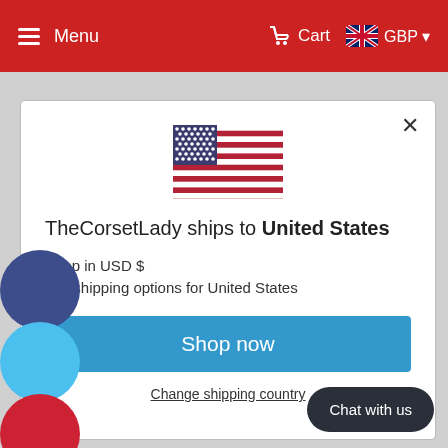Menu  Cart  GBP
[Figure (screenshot): Modal dialog showing US flag, shipping destination (United States), USD currency option, and Shop now button on e-commerce website TheCorsetLady]
TheCorsetLady ships to United States
Shop in USD $
Get shipping options for United States
Shop now
Change shipping country
cross dresser corsets
cross dressers
Chat with us